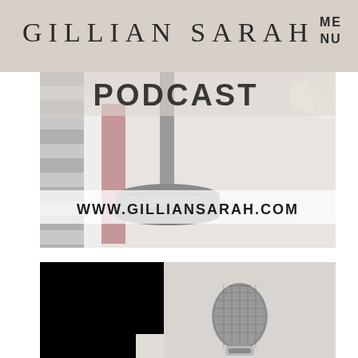GILLIAN SARAH   MENU
[Figure (photo): Desk flatlay showing striped fabric, books (white and pink), a gray lamp base, and a white flower. Text overlay reads WWW.GILLIANSARAH.COM]
[Figure (photo): Split image: left half black square, right half shows a silver/gray microphone on a light gray background]